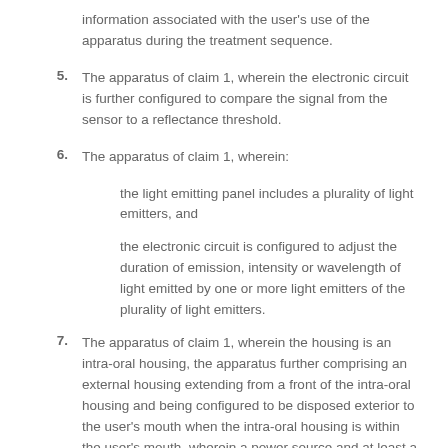information associated with the user's use of the apparatus during the treatment sequence.
5. The apparatus of claim 1, wherein the electronic circuit is further configured to compare the signal from the sensor to a reflectance threshold.
6. The apparatus of claim 1, wherein:
the light emitting panel includes a plurality of light emitters, and
the electronic circuit is configured to adjust the duration of emission, intensity or wavelength of light emitted by one or more light emitters of the plurality of light emitters.
7. The apparatus of claim 1, wherein the housing is an intra-oral housing, the apparatus further comprising an external housing extending from a front of the intra-oral housing and being configured to be disposed exterior to the user's mouth when the intra-oral housing is within the user's mouth, wherein a power source and at least a portion of the